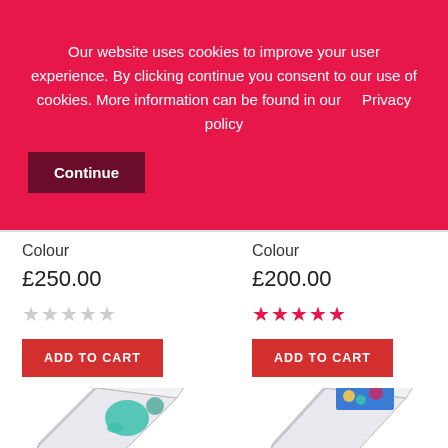Our website uses cookies to improve your user experience. By clicking continue you consent to our use of cookies. More information can be found in our    Privacy policy
Continue
Colour
£250.00
★★★★★ (empty stars)
ADD TO CART
Colour
£200.00
★★★★★ (filled stars)
ADD TO CART
[Figure (photo): Open box with teal elephant/floral illustration]
[Figure (photo): Open box with Storyline colorful illustrated book cover]